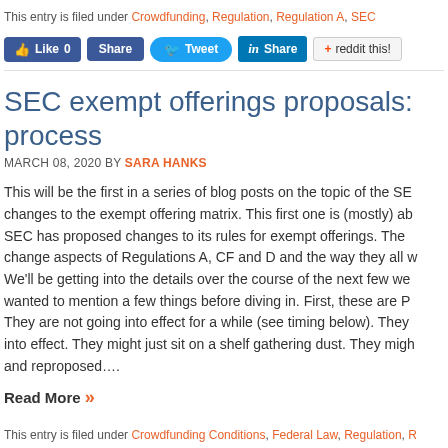This entry is filed under Crowdfunding, Regulation, Regulation A, SEC
[Figure (screenshot): Social media sharing buttons: Like 0 (Facebook), Share (Facebook), Tweet (Twitter), Share (LinkedIn), reddit this!]
SEC exempt offerings proposals: process
MARCH 08, 2020 BY SARA HANKS
This will be the first in a series of blog posts on the topic of the SEC changes to the exempt offering matrix. This first one is (mostly) about the SEC has proposed changes to its rules for exempt offerings. The change aspects of Regulations A, CF and D and the way they all … We'll be getting into the details over the course of the next few we wanted to mention a few things before diving in. First, these are P They are not going into effect for a while (see timing below). They into effect. They might just sit on a shelf gathering dust. They migh and reproposed….
Read More »
This entry is filed under Crowdfunding Conditions, Federal Law, Regulation, R